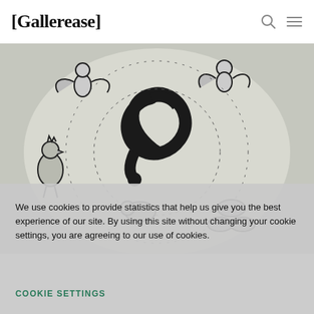[Gallerease]
[Figure (illustration): Black and white artwork showing mythological or folk figures including angels/cherubs, a rooster/bird, and a large spiral snake motif on a circular background, in a style reminiscent of Marc Chagall's work.]
We use cookies to provide statistics that help us give you the best experience of our site. By using this site without changing your cookie settings, you are agreeing to our use of cookies.
COOKIE SETTINGS